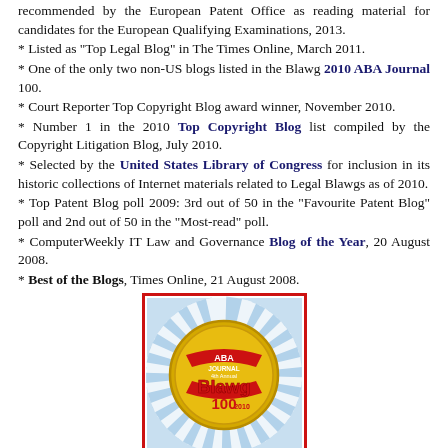recommended by the European Patent Office as reading material for candidates for the European Qualifying Examinations, 2013.
* Listed as "Top Legal Blog" in The Times Online, March 2011.
* One of the only two non-US blogs listed in the Blawg 2010 ABA Journal 100.
* Court Reporter Top Copyright Blog award winner, November 2010.
* Number 1 in the 2010 Top Copyright Blog list compiled by the Copyright Litigation Blog, July 2010.
* Selected by the United States Library of Congress for inclusion in its historic collections of Internet materials related to Legal Blawgs as of 2010.
* Top Patent Blog poll 2009: 3rd out of 50 in the "Favourite Patent Blog" poll and 2nd out of 50 in the "Most-read" poll.
* ComputerWeekly IT Law and Governance Blog of the Year, 20 August 2008.
* Best of the Blogs, Times Online, 21 August 2008.
[Figure (logo): ABA Journal 4th Annual Blawg 100 2010 badge — circular gold medallion with red and blue accents on a sunburst background, framed with a red border.]